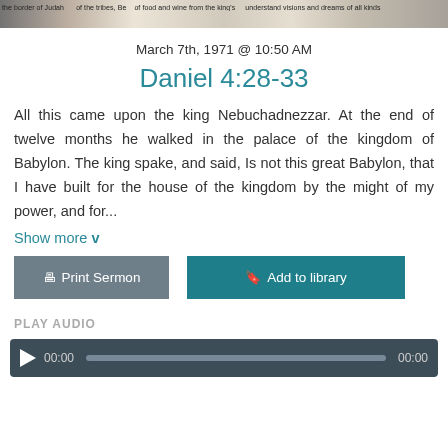[Figure (photo): Cropped image of a Bible page showing printed text columns]
March 7th, 1971 @ 10:50 AM
Daniel 4:28-33
All this came upon the king Nebuchadnezzar. At the end of twelve months he walked in the palace of the kingdom of Babylon. The king spake, and said, Is not this great Babylon, that I have built for the house of the kingdom by the might of my power, and for...
Show more v
Print Sermon
Add to library
PLAY AUDIO
00:00  00:00